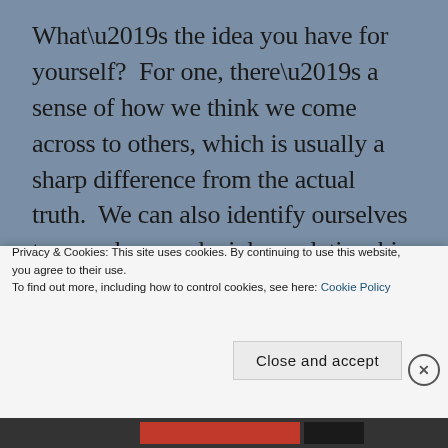What’s the idea you have for yourself?  For one, there’s a sense of how we think we come across to others, which is usually a sharp difference from the actual truth.  We can also identify ourselves too much around a job, a relationship, or even our gender or sexual identity.  And sometimes, we labor to craft the perfect idea of what we think our lives should be.  We know the career we want or would excel at if we weren’t stuck in the one we were currently in, and we think it’s just a matter of time before the boss notices or the Universe opens
Privacy & Cookies: This site uses cookies. By continuing to use this website, you agree to their use.
To find out more, including how to control cookies, see here: Cookie Policy
Close and accept